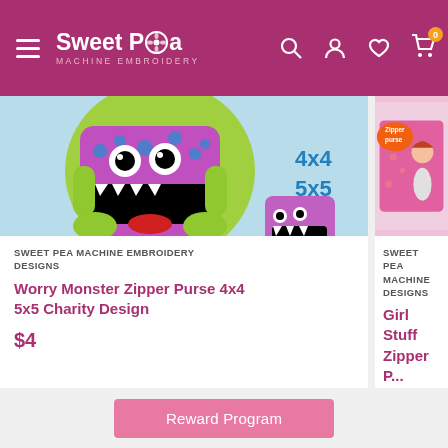Sweet Pea Machine Embroidery
[Figure (photo): Product photo of Worry Monster Zipper Purse in 4x4 and 5x5 sizes, colorful monster coin purse with googly eyes and teeth, on light blue background]
SWEET PEA MACHINE EMBROIDERY DESIGNS
Worry Monster Zipper Purse 4x4 5x5 Charity Design
$4
[Figure (photo): Product photo of Girl Stuff Zipper Purse, pink fabric with girl illustration, 'Zipper purse' label in orange speech bubble]
SWEET PEA MACHINE DESIGNS
Girl Stuff Zipper P...
$5.50
Reward Program